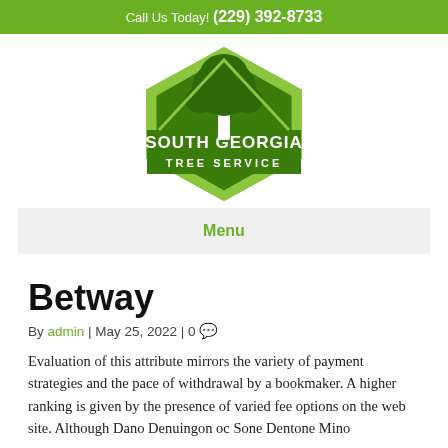Call Us Today! (229) 392-8733
[Figure (logo): South Georgia Tree Service logo — green hexagon badge with white oak tree silhouette on top, bold white text SOUTH GEORGIA TREE SERVICE inside]
Menu
Betway
By admin | May 25, 2022 | 0
Evaluation of this attribute mirrors the variety of payment strategies and the pace of withdrawal by a bookmaker. A higher ranking is given by the presence of varied fee options on the web site. Although Dano Denuingon oc Sone Dentone Mino